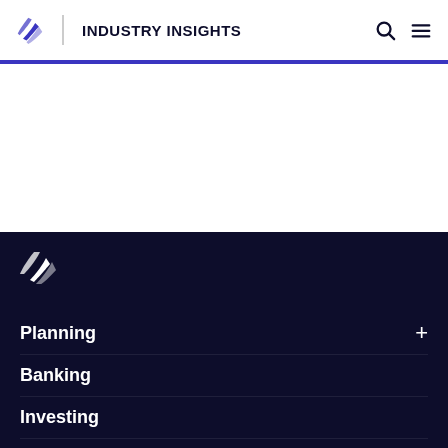INDUSTRY INSIGHTS
Planning
Banking
Investing
Product news